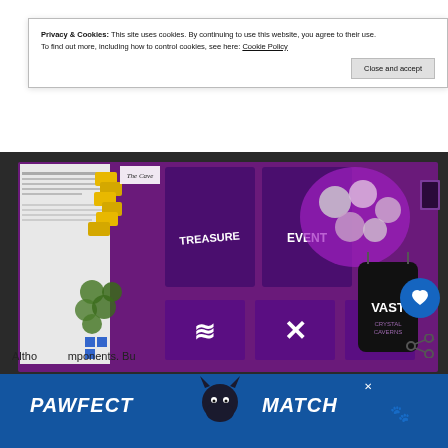Privacy & Cookies: This site uses cookies. By continuing to use this website, you agree to their use. To find out more, including how to control cookies, see here: Cookie Policy
Close and accept
[Figure (photo): Board game components for 'Vast: The Crystal Caverns' spread out on a table. Includes a cave board, yellow token pieces, purple cards labeled 'TREASURE' and 'EVENT', purple tiles with symbols (monster face, X, circle), tokens, a black drawstring bag labeled 'VAST', and a game card. Photo by Jonathan H. Liu.]
Cave Components. Photo: Jonathan H. Liu
Cave
Altho          mponents. Bu
[Figure (advertisement): PAWFECT MATCH advertisement banner with cat silhouette logo on blue background]